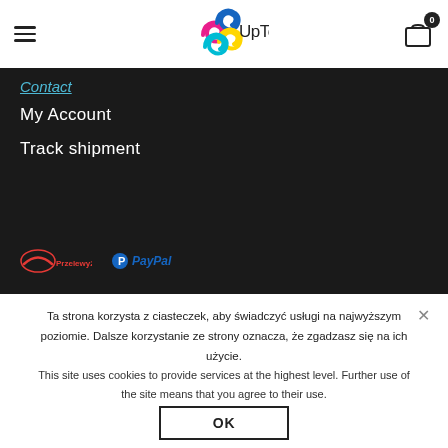[Figure (logo): UpToU logo with colorful interlinked clips and brand name UpToU]
Contact
My Account
Track shipment
[Figure (logo): Przelewy24 and PayPal payment logos]
Ta strona korzysta z ciasteczek, aby świadczyć usługi na najwyższym poziomie. Dalsze korzystanie ze strony oznacza, że zgadzasz się na ich użycie.
This site uses cookies to provide services at the highest level. Further use of the site means that you agree to their use.
OK